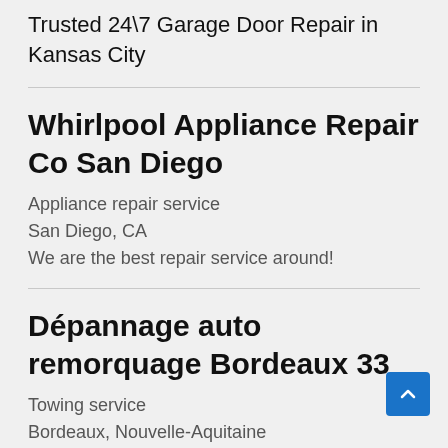Trusted 24\7 Garage Door Repair in Kansas City
Whirlpool Appliance Repair Co San Diego
Appliance repair service
San Diego, CA
We are the best repair service around!
Dépannage auto remorquage Bordeaux 33
Towing service
Bordeaux, Nouvelle-Aquitaine